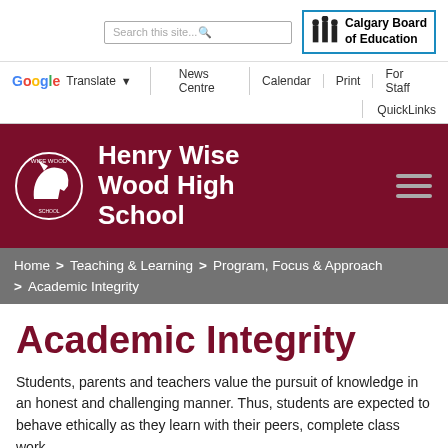[Figure (screenshot): Website header with search box and Calgary Board of Education logo]
Google Translate | News Centre | Calendar | Print | For Staff | QuickLinks
[Figure (logo): Henry Wise Wood High School logo with helmet mascot on dark red banner]
Home > Teaching & Learning > Program, Focus & Approach > Academic Integrity
Academic Integrity
Students, parents and teachers value the pursuit of knowledge in an honest and challenging manner. Thus, students are expected to behave ethically as they learn with their peers, complete class work